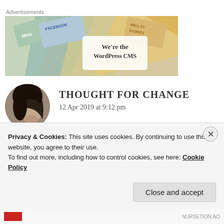[Figure (screenshot): Advertisement banner showing colorful book covers with 'Meta' and 'FACEBOOK' text overlay, and a white box with text 'We're the WordPress CMS']
THOUGHT FOR CHANGE
12 Apr 2019 at 9:12 pm
Congratulations
Privacy & Cookies: This site uses cookies. By continuing to use this website, you agree to their use.
To find out more, including how to control cookies, see here: Cookie Policy
Close and accept